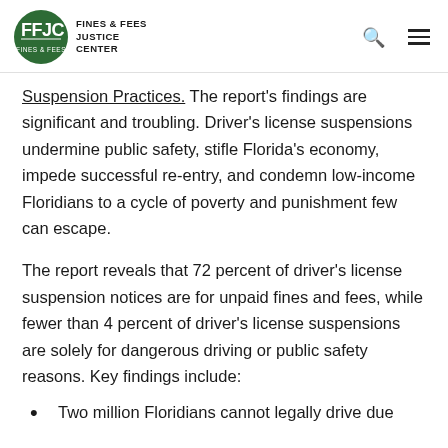FFJC FINES & FEES JUSTICE CENTER
Suspension Practices. The report's findings are significant and troubling. Driver's license suspensions undermine public safety, stifle Florida's economy, impede successful re-entry, and condemn low-income Floridians to a cycle of poverty and punishment few can escape.
The report reveals that 72 percent of driver's license suspension notices are for unpaid fines and fees, while fewer than 4 percent of driver's license suspensions are solely for dangerous driving or public safety reasons. Key findings include:
Two million Floridians cannot legally drive due